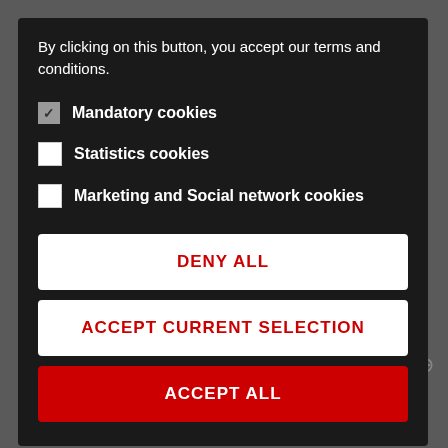By clicking on this button, you accept our terms and conditions.
Mandatory cookies
Statistics cookies
Marketing and Social network cookies
DENY ALL
ACCEPT CURRENT SELECTION
ACCEPT ALL